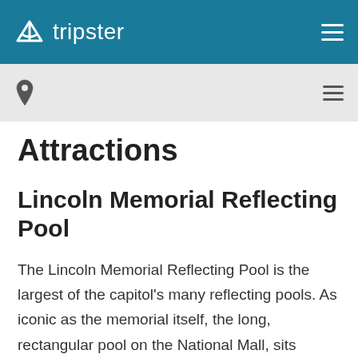tripster
[Figure (logo): Tripster logo with navigation icon and hamburger menu on teal header bar]
[Figure (infographic): Sub-navigation bar with map pin icon on left and hamburger menu icon on right, on light gray background]
Attractions
Lincoln Memorial Reflecting Pool
The Lincoln Memorial Reflecting Pool is the largest of the capitol's many reflecting pools. As iconic as the memorial itself, the long, rectangular pool on the National Mall, sits